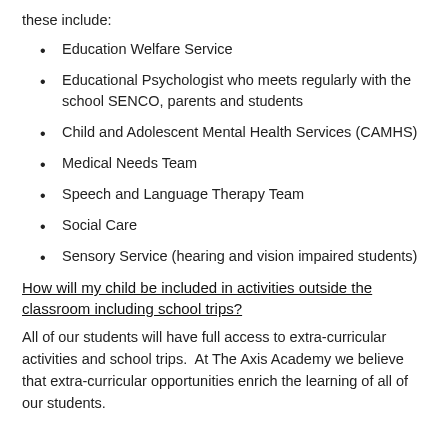these include:
Education Welfare Service
Educational Psychologist who meets regularly with the school SENCO, parents and students
Child and Adolescent Mental Health Services (CAMHS)
Medical Needs Team
Speech and Language Therapy Team
Social Care
Sensory Service (hearing and vision impaired students)
How will my child be included in activities outside the classroom including school trips?
All of our students will have full access to extra-curricular activities and school trips.  At The Axis Academy we believe that extra-curricular opportunities enrich the learning of all of our students.